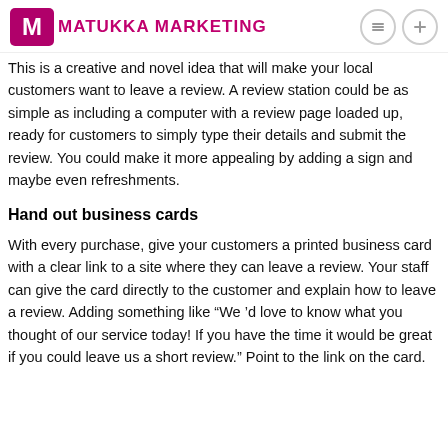MATUKKA MARKETING
This is a creative and novel idea that will make your local customers want to leave a review. A review station could be as simple as including a computer with a review page loaded up, ready for customers to simply type their details and submit the review. You could make it more appealing by adding a sign and maybe even refreshments.
Hand out business cards
With every purchase, give your customers a printed business card with a clear link to a site where they can leave a review. Your staff can give the card directly to the customer and explain how to leave a review. Adding something like “We ’d love to know what you thought of our service today! If you have the time it would be great if you could leave us a short review.” Point to the link on the card.